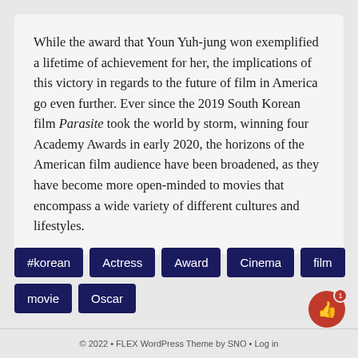While the award that Youn Yuh-jung won exemplified a lifetime of achievement for her, the implications of this victory in regards to the future of film in America go even further. Ever since the 2019 South Korean film Parasite took the world by storm, winning four Academy Awards in early 2020, the horizons of the American film audience have been broadened, as they have become more open-minded to movies that encompass a wide variety of different cultures and lifestyles.
#korean
Actress
Award
Cinema
film
movie
Oscar
© 2022 • FLEX WordPress Theme by SNO • Log in